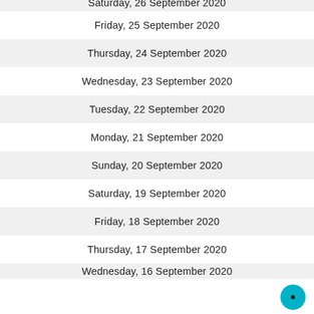Saturday, 26 September 2020
Friday, 25 September 2020
Thursday, 24 September 2020
Wednesday, 23 September 2020
Tuesday, 22 September 2020
Monday, 21 September 2020
Sunday, 20 September 2020
Saturday, 19 September 2020
Friday, 18 September 2020
Thursday, 17 September 2020
Wednesday, 16 September 2020